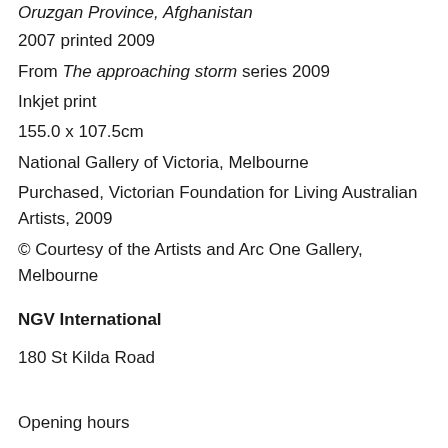Oruzgan Province, Afghanistan
2007 printed 2009
From The approaching storm series 2009
Inkjet print
155.0 x 107.5cm
National Gallery of Victoria, Melbourne
Purchased, Victorian Foundation for Living Australian Artists, 2009
© Courtesy of the Artists and Arc One Gallery, Melbourne
NGV International
180 St Kilda Road
Opening hours